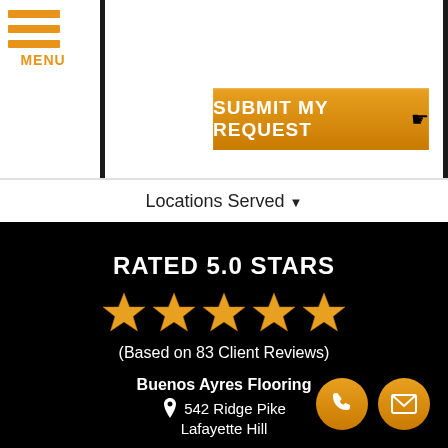[Figure (screenshot): Orange hamburger menu icon with three horizontal lines and MENU label below]
[Figure (screenshot): Orange SUBMIT MY REQUEST button with pointer icon inside a black bordered form box]
Locations Served ▼
RATED 5.0 STARS
[Figure (infographic): Five gold star rating icons]
(Based on 83 Client Reviews)
Buenos Ayres Flooring
542 Ridge Pike
Lafayette Hill
[Figure (infographic): Orange circle phone and email contact icons in bottom right corner]